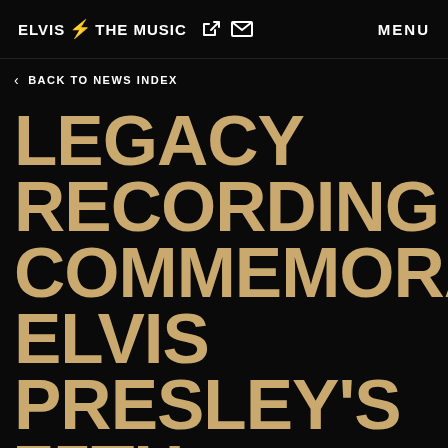ELVIS ⚡ THE MUSIC  🔗  ✉  MENU
< BACK TO NEWS INDEX
LEGACY RECORDING COMMEMORATING ELVIS PRESLEY'S 75TH BIRTHDAY WITH THE RELEASE